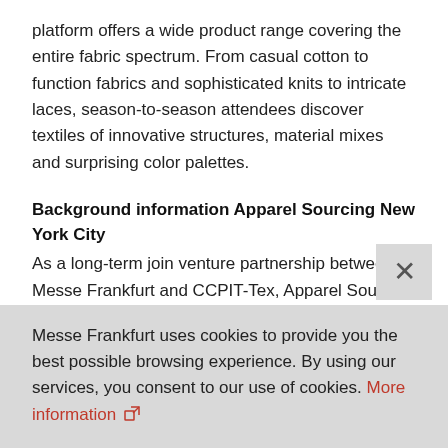platform offers a wide product range covering the entire fabric spectrum. From casual cotton to function fabrics and sophisticated knits to intricate laces, season-to-season attendees discover textiles of innovative structures, material mixes and surprising color palettes.
Background information Apparel Sourcing New York City
As a long-term join venture partnership between Messe Frankfurt and CCPIT-Tex, Apparel Sourcing New York City offers apparel brands, retailers, wholesalers and independent design firms a
Messe Frankfurt uses cookies to provide you the best possible browsing experience. By using our services, you consent to our use of cookies. More information